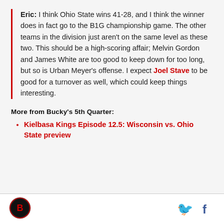Eric: I think Ohio State wins 41-28, and I think the winner does in fact go to the B1G championship game. The other teams in the division just aren't on the same level as these two. This should be a high-scoring affair; Melvin Gordon and James White are too good to keep down for too long, but so is Urban Meyer's offense. I expect Joel Stave to be good for a turnover as well, which could keep things interesting.
More from Bucky's 5th Quarter:
Kielbasa Kings Episode 12.5: Wisconsin vs. Ohio State preview
[Figure (logo): Bucky's 5th Quarter circular logo with badger emblem]